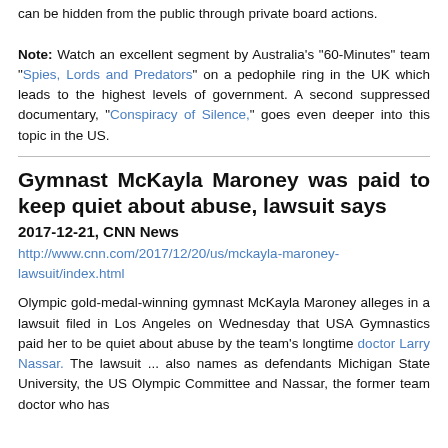can be hidden from the public through private board actions. Note: Watch an excellent segment by Australia's "60-Minutes" team "Spies, Lords and Predators" on a pedophile ring in the UK which leads to the highest levels of government. A second suppressed documentary, "Conspiracy of Silence," goes even deeper into this topic in the US.
Gymnast McKayla Maroney was paid to keep quiet about abuse, lawsuit says
2017-12-21, CNN News
http://www.cnn.com/2017/12/20/us/mckayla-maroney-lawsuit/index.html
Olympic gold-medal-winning gymnast McKayla Maroney alleges in a lawsuit filed in Los Angeles on Wednesday that USA Gymnastics paid her to be quiet about abuse by the team's longtime doctor Larry Nassar. The lawsuit ... also names as defendants Michigan State University, the US Olympic Committee and Nassar, the former team doctor who has